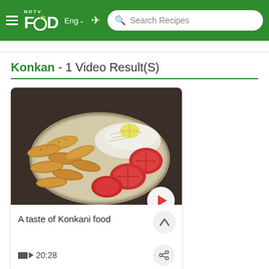NDTV Food - Eng - Search Recipes
Konkan - 1 Video Result(S)
[Figure (photo): A plate of Konkani fried fish/snacks served on a metal plate with sliced tomatoes, shredded cabbage, and a slice of lemon, with a video play button overlay]
A taste of Konkani food
20:28